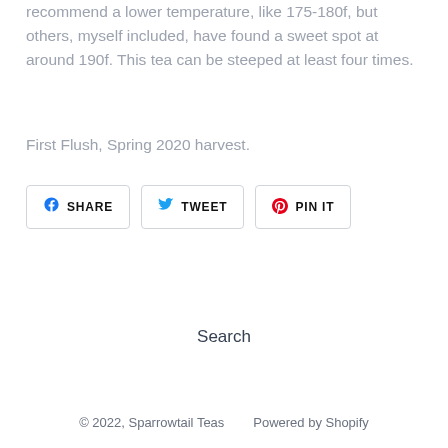recommend a lower temperature, like 175-180f, but others, myself included, have found a sweet spot at around 190f. This tea can be steeped at least four times.
First Flush, Spring 2020 harvest.
SHARE  TWEET  PIN IT
Search
© 2022, Sparrowtail Teas        Powered by Shopify